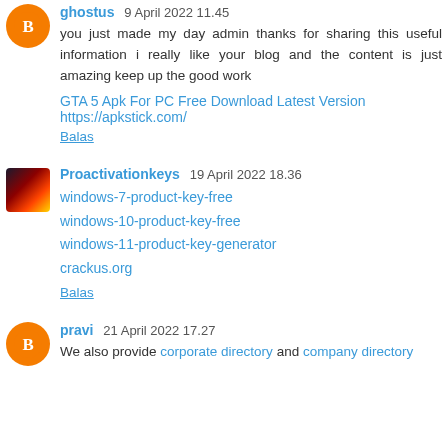ghostus 9 April 2022 11.45 — you just made my day admin thanks for sharing this useful information i really like your blog and the content is just amazing keep up the good work
GTA 5 Apk For PC Free Download Latest Version https://apkstick.com/
Balas
Proactivationkeys 19 April 2022 18.36 — windows-7-product-key-free windows-10-product-key-free windows-11-product-key-generator crackus.org
Balas
pravi 21 April 2022 17.27 — We also provide corporate directory and company directory